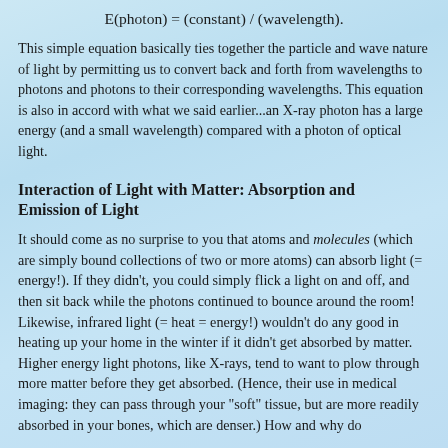This simple equation basically ties together the particle and wave nature of light by permitting us to convert back and forth from wavelengths to photons and photons to their corresponding wavelengths. This equation is also in accord with what we said earlier...an X-ray photon has a large energy (and a small wavelength) compared with a photon of optical light.
Interaction of Light with Matter: Absorption and Emission of Light
It should come as no surprise to you that atoms and molecules (which are simply bound collections of two or more atoms) can absorb light (= energy!). If they didn't, you could simply flick a light on and off, and then sit back while the photons continued to bounce around the room! Likewise, infrared light (= heat = energy!) wouldn't do any good in heating up your home in the winter if it didn't get absorbed by matter. Higher energy light photons, like X-rays, tend to want to plow through more matter before they get absorbed. (Hence, their use in medical imaging: they can pass through your "soft" tissue, but are more readily absorbed in your bones, which are denser.) How and why do